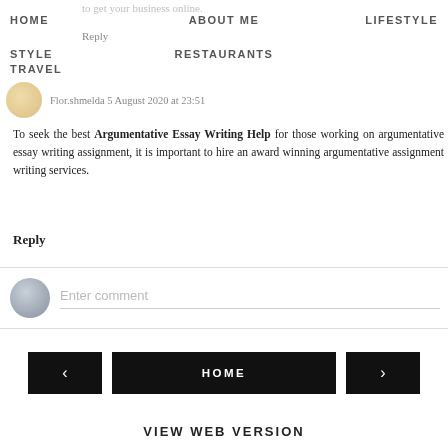to get your business online.
HOME   ABOUT ME   LIFESTYLE
Reply
STYLE   RESTAURANTS
Flor.shmelda  5 August 2020 at 23:51
To seek the best Argumentative Essay Writing Help for those working on argumentative essay writing assignment, it is important to hire an award winning argumentative assignment writing services.
Reply
Enter comment
‹   HOME   ›
VIEW WEB VERSION